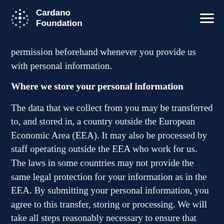Cardano Foundation
permission beforehand whenever you provide us with personal information.
Where we store your personal information
The data that we collect from you may be transferred to, and stored in, a country outside the European Economic Area (EEA). It may also be processed by staff operating outside the EEA who work for us. The laws in some countries may not provide the same legal protection for your information as in the EEA. By submitting your personal information, you agree to this transfer, storing or processing. We will take all steps reasonably necessary to ensure that your